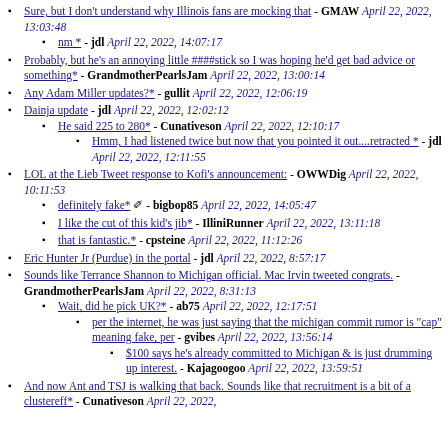Sure, but I don't understand why Illinois fans are mocking that - GMAW April 22, 2022, 13:03:48
nm * - jdl April 22, 2022, 14:07:17
Probably, but he's an annoying little ####stick so I was hoping he'd get bad advice or something* - GrandmotherPearlsJam April 22, 2022, 13:00:14
Any Adam Miller updates?* - gullit April 22, 2022, 12:06:19
Dainja update - jdl April 22, 2022, 12:02:12
He said 225 to 280* - Cunativeson April 22, 2022, 12:10:17
Hmm, I had listened twice but now that you pointed it out....retracted * - jdl April 22, 2022, 12:11:55
LOL at the Lieb Tweet response to Kofi's announcement: - OWWDig April 22, 2022, 10:11:53
definitely fake* - bigbop85 April 22, 2022, 14:05:47
I like the cut of this kid's jib* - IlliniRunner April 22, 2022, 13:11:18
that is fantastic.* - cpsteine April 22, 2022, 11:12:26
Eric Hunter Jr (Purdue) in the portal - jdl April 22, 2022, 8:57:17
Sounds like Terrance Shannon to Michigan official. Mac Irvin tweeted congrats. - GrandmotherPearlsJam April 22, 2022, 8:31:13
Wait, did he pick UK?* - ab75 April 22, 2022, 12:17:51
per the internet, he was just saying that the michigan commit rumor is "cap" meaning fake, per - gvibes April 22, 2022, 13:56:14
$100 says he's already committed to Michigan & is just drumming up interest. - Kajagoogoo April 22, 2022, 13:59:51
And now Ant and TSJ is walking that back. Sounds like that recruitment is a bit of a clustereff* - Cunativeson April 22, 2022,